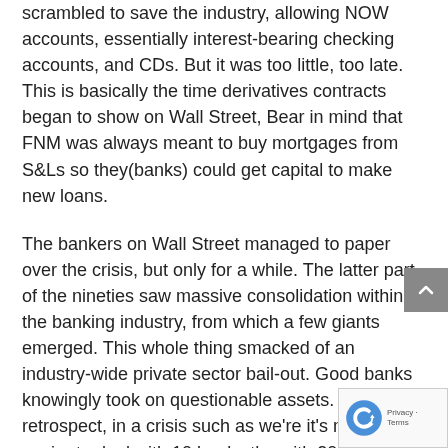scrambled to save the industry, allowing NOW accounts, essentially interest-bearing checking accounts, and CDs. But it was too little, too late. This is basically the time derivatives contracts began to show on Wall Street, Bear in mind that FNM was always meant to buy mortgages from S&Ls so they(banks) could get capital to make new loans.
The bankers on Wall Street managed to paper over the crisis, but only for a while. The latter part of the nineties saw massive consolidation within the banking industry, from which a few giants emerged. This whole thing smacked of an industry-wide private sector bail-out. Good banks knowingly took on questionable assets. But in retrospect, in a crisis such as we're it's much easier to deal with 10 banks tha with 200.